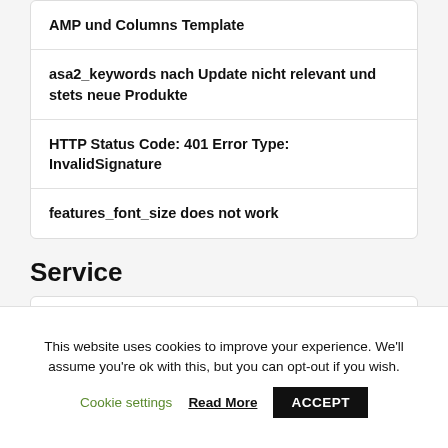AMP und Columns Template
asa2_keywords nach Update nicht relevant und stets neue Produkte
HTTP Status Code: 401 Error Type: InvalidSignature
features_font_size does not work
Service
ASA Newsletter
This website uses cookies to improve your experience. We'll assume you're ok with this, but you can opt-out if you wish.
Cookie settings  Read More  ACCEPT